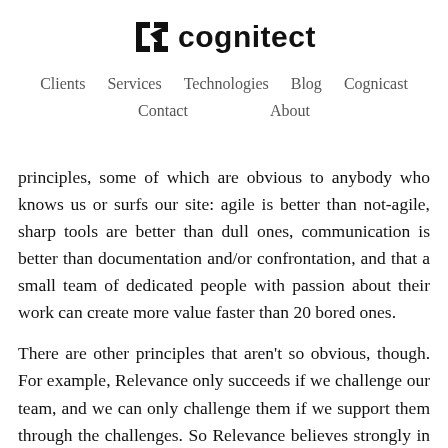[Figure (logo): Cognitect logo with stylized bracket icon and wordmark 'cognitect' in bold sans-serif]
Clients  Services  Technologies  Blog  Cognicast  Contact  About
principles, some of which are obvious to anybody who knows us or surfs our site: agile is better than not-agile, sharp tools are better than dull ones, communication is better than documentation and/or confrontation, and that a small team of dedicated people with passion about their work can create more value faster than 20 bored ones.
There are other principles that aren't so obvious, though. For example, Relevance only succeeds if we challenge our team, and we can only challenge them if we support them through the challenges. So Relevance believes strongly in shared ownership and a good work/life balance. We believe